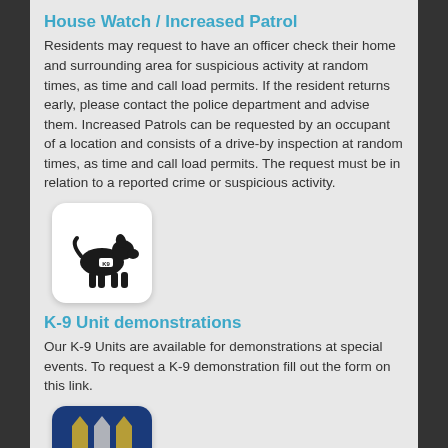House Watch / Increased Patrol
Residents may request to have an officer check their home and surrounding area for suspicious activity at random times, as time and call load permits. If the resident returns early, please contact the police department and advise them. Increased Patrols can be requested by an occupant of a location and consists of a drive-by inspection at random times, as time and call load permits. The request must be in relation to a reported crime or suspicious activity.
[Figure (illustration): K-9 unit icon: black silhouette of a dog with K9 badge on white rounded square background]
K-9 Unit demonstrations
Our K-9 Units are available for demonstrations at special events. To request a K-9 demonstration fill out the form on this link.
[Figure (photo): Police badge/shield image on blue background, partially visible at bottom of page]